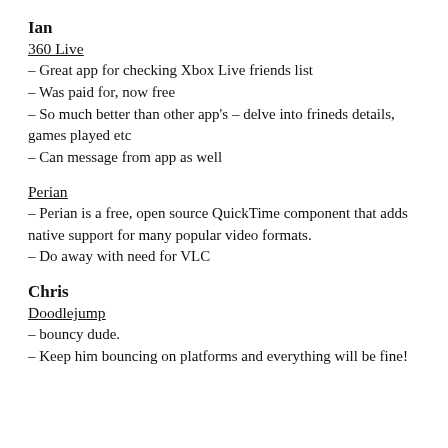Ian
360 Live
– Great app for checking Xbox Live friends list
– Was paid for, now free
– So much better than other app's – delve into frineds details, games played etc
– Can message from app as well
Perian
– Perian is a free, open source QuickTime component that adds native support for many popular video formats.
– Do away with need for VLC
Chris
Doodlejump
– bouncy dude.
– Keep him bouncing on platforms and everything will be fine!